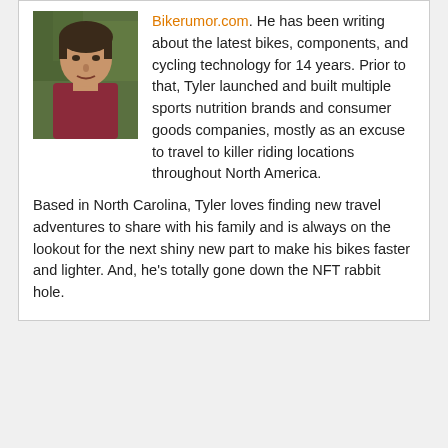[Figure (photo): Headshot of a man in a dark red/maroon t-shirt with trees in background]
Bikerumor.com. He has been writing about the latest bikes, components, and cycling technology for 14 years. Prior to that, Tyler launched and built multiple sports nutrition brands and consumer goods companies, mostly as an excuse to travel to killer riding locations throughout North America.
Based in North Carolina, Tyler loves finding new travel adventures to share with his family and is always on the lookout for the next shiny new part to make his bikes faster and lighter. And, he's totally gone down the NFT rabbit hole.
Subscribe
Login
Be the First to Comment!